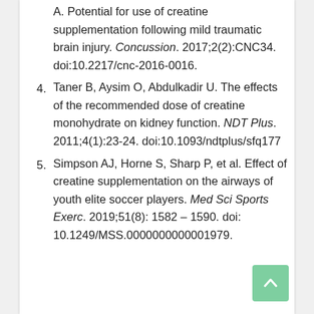A. Potential for use of creatine supplementation following mild traumatic brain injury. Concussion. 2017;2(2):CNC34. doi:10.2217/cnc-2016-0016.
4. Taner B, Aysim O, Abdulkadir U. The effects of the recommended dose of creatine monohydrate on kidney function. NDT Plus. 2011;4(1):23-24. doi:10.1093/ndtplus/sfq177
5. Simpson AJ, Horne S, Sharp P, et al. Effect of creatine supplementation on the airways of youth elite soccer players. Med Sci Sports Exerc. 2019;51(8): 1582 – 1590. doi: 10.1249/MSS.0000000000001979.